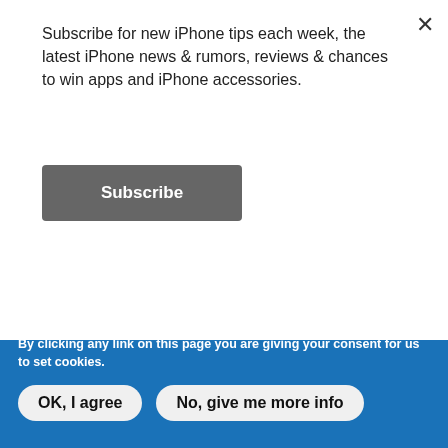Subscribe for new iPhone tips each week, the latest iPhone news & rumors, reviews & chances to win apps and iPhone accessories.
Subscribe
Apple iPhone XR, 64GB, Black - Unlocked (Renewed)
$233.00
(50678)
Apple iPhone 8, US Version, 64GB, Space Gray - Unlocked...
$152.00
(46875)
Ads by Amazon
We use cookies on this site to enhance your user experience.
By clicking any link on this page you are giving your consent for us to set cookies.
OK, I agree
No, give me more info